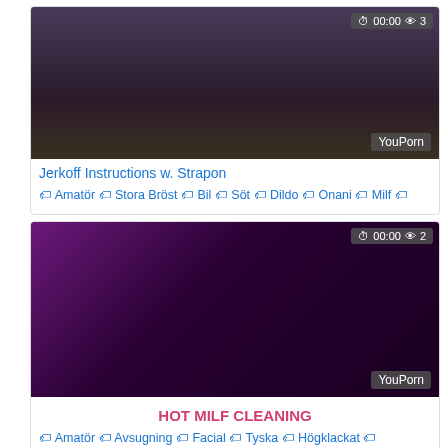[Figure (screenshot): Video thumbnail for Jerkoff Instructions w. Strapon, showing a person in dark clothing. Badge shows 00:00 duration and 3 views. YouPorn watermark.]
Jerkoff Instructions w. Strapon
🏷 Amatör 🏷 Stora Bröst 🏷 Bil 🏷 Söt 🏷 Dildo 🏷 Onani 🏷 Milf 🏷
[Figure (screenshot): Video thumbnail for HOT MILF CLEANING, showing a woman in lingerie with a mosaic of smaller images. Badge shows 00:00 duration and 2 views. YouPorn watermark.]
HOT MILF CLEANING
🏷 Amatör 🏷 Avsugning 🏷 Facial 🏷 Tyska 🏷 Högklackat 🏷
[Figure (screenshot): Partially visible video thumbnail at the bottom of the page.]